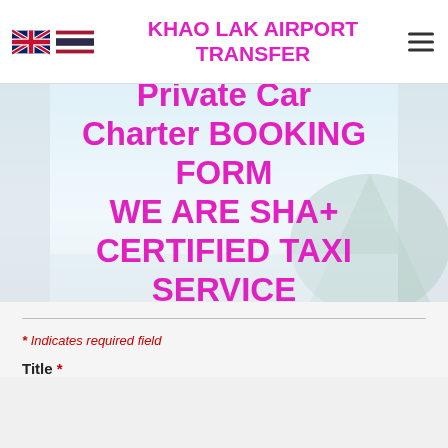KHAO LAK AIRPORT TRANSFER
Private Car Charter BOOKING FORM WE ARE SHA+ CERTIFIED TAXI SERVICE
* Indicates required field
Title *